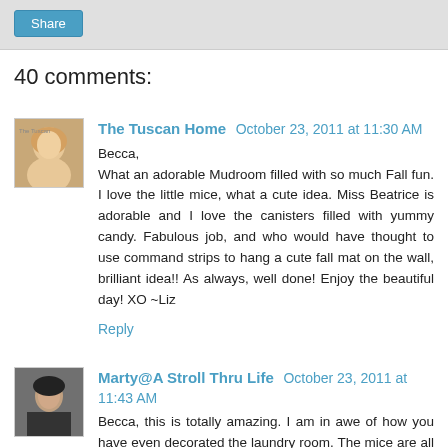[Figure (other): Share button on gray background bar]
40 comments:
[Figure (photo): Avatar photo of The Tuscan Home commenter - woman with blonde hair]
The Tuscan Home October 23, 2011 at 11:30 AM
Becca,
What an adorable Mudroom filled with so much Fall fun. I love the little mice, what a cute idea. Miss Beatrice is adorable and I love the canisters filled with yummy candy. Fabulous job, and who would have thought to use command strips to hang a cute fall mat on the wall, brilliant idea!! As always, well done! Enjoy the beautiful day! XO ~Liz
Reply
[Figure (photo): Avatar photo of Marty@A Stroll Thru Life commenter - person with dark hair]
Marty@A Stroll Thru Life October 23, 2011 at 11:43 AM
Becca, this is totally amazing. I am in awe of how you have even decorated the laundry room. The mice are all so cute as well as all the pumpkins and wall art. Miss Beatrice is